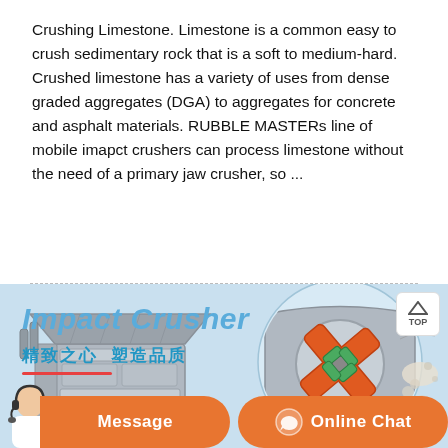Crushing Limestone. Limestone is a common easy to crush sedimentary rock that is a soft to medium-hard. Crushed limestone has a variety of uses from dense graded aggregates (DGA) to aggregates for concrete and asphalt materials. RUBBLE MASTERs line of mobile imapct crushers can process limestone without the need of a primary jaw crusher, so ...
[Figure (illustration): Impact Crusher product illustration with Chinese text '精致之心 塑造品质' (Exquisite Heart, Shaping Quality), showing cutaway diagram of an impact crusher with orange hammers/blow bars on a rotor, and exterior view of the machine body. Light blue background. TOP navigation button in upper right corner. Orange 'Message' and 'Online Chat' buttons at the bottom with a customer service person avatar.]